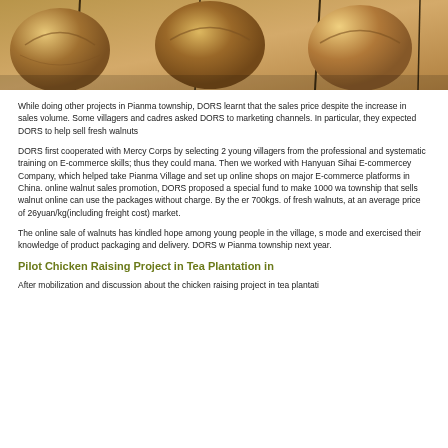[Figure (photo): Close-up photo of walnuts on a surface with sticks/stems visible]
While doing other projects in Pianma township, DORS learnt that the sales price despite the increase in sales volume. Some villagers and cadres asked DORS to marketing channels. In particular, they expected DORS to help sell fresh walnuts
DORS first cooperated with Mercy Corps by selecting 2 young villagers from the professional and systematic training on E-commerce skills; thus they could mana. Then we worked with Hanyuan Sihai E-commercey Company, which helped take Pianma Village and set up online shops on major E-commerce platforms in China. online walnut sales promotion, DORS proposed a special fund to make 1000 wa township that sells walnut online can use the packages without charge. By the er 700kgs. of fresh walnuts, at an average price of 26yuan/kg(including freight cost) market.
The online sale of walnuts has kindled hope among young people in the village, s mode and exercised their knowledge of product packaging and delivery. DORS w Pianma township next year.
Pilot Chicken Raising Project in Tea Plantation in
After mobilization and discussion about the chicken raising project in tea plantati